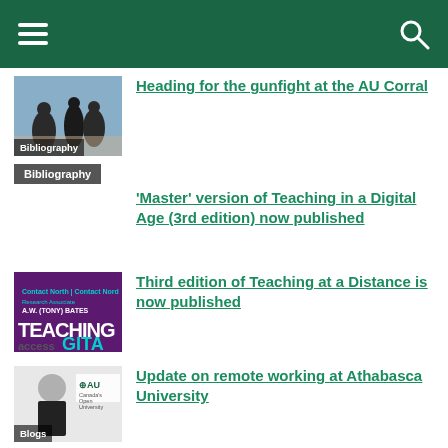Heading for the gunfight at the AU Corral
Bibliography
'Master' version of Teaching in a Digital Age (3rd edition) now published
Third edition of Teaching at a Distance is now published
Update on remote working at Athabasca University
Blogs